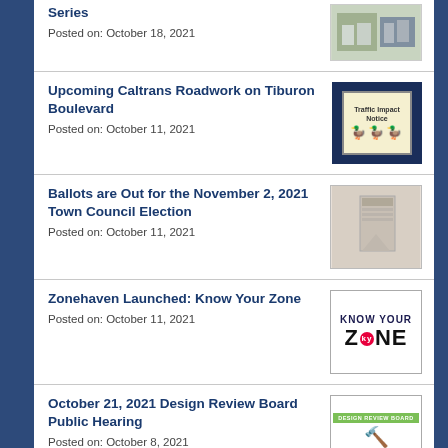Series
Posted on: October 18, 2021
Upcoming Caltrans Roadwork on Tiburon Boulevard
Posted on: October 11, 2021
Ballots are Out for the November 2, 2021 Town Council Election
Posted on: October 11, 2021
Zonehaven Launched: Know Your Zone
Posted on: October 11, 2021
October 21, 2021 Design Review Board Public Hearing
Posted on: October 8, 2021
September 23, 2021 Design Review Board Public